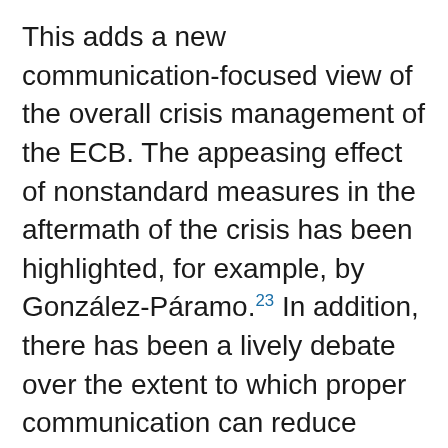This adds a new communication-focused view of the overall crisis management of the ECB. The appeasing effect of nonstandard measures in the aftermath of the crisis has been highlighted, for example, by González-Páramo.²³ In addition, there has been a lively debate over the extent to which proper communication can reduce overall uncertainty.²⁴ Yet there has been no discussion on the extent to which a shift in the wording of communication concerning uncertainty has contributed to the decline in overall uncertainty and thus to a stabilisation of the European economy after the global financial crisis. The importance of this question, i.e. how a reduction of uncertainty contributes to economic growth, has been analysed by Baker et al.²⁵